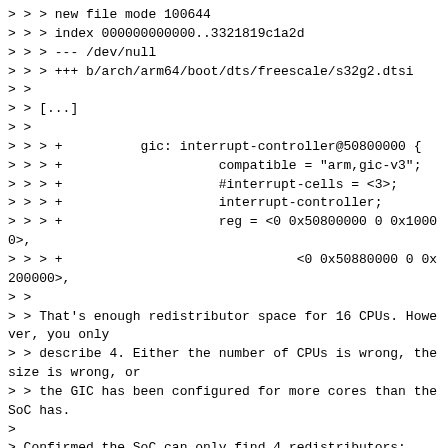> > > new file mode 100644
> > > index 000000000000..3321819c1a2d
> > > --- /dev/null
> > > +++ b/arch/arm64/boot/dts/freescale/s32g2.dtsi
> >
> > [...]
> >
> > > +          gic: interrupt-controller@50800000 {
> > > +                    compatible = "arm,gic-v3";
> > > +                    #interrupt-cells = <3>;
> > > +                    interrupt-controller;
> > > +                    reg = <0 0x50800000 0 0x10000>,
> > > +                              <0 0x50880000 0 0x200000>,
> >
> > That's enough redistributor space for 16 CPUs. However, you only
> > describe 4. Either the number of CPUs is wrong, the size is wrong, or
> > the GIC has been configured for more cores than the SoC has.
>
> Confirmed the SoC can only find 4 redistributors:
>
> localhost:~ # dmesg | grep CPU
> [    0.000000] Booting Linux on physical CPU 0x0000000000 [0x410fd034]